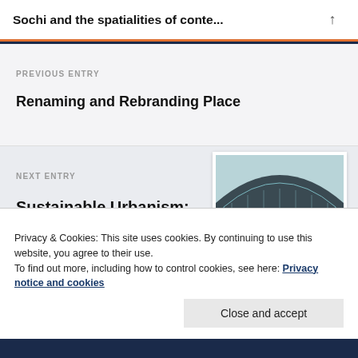Sochi and the spatialities of conte...
PREVIOUS ENTRY
Renaming and Rebranding Place
NEXT ENTRY
Sustainable Urbanism: Transport Hubs and City Exchanges
[Figure (photo): Interior of a large railway station with arched iron and glass roof, teal/turquoise globe sculpture visible on the platform]
Privacy & Cookies: This site uses cookies. By continuing to use this website, you agree to their use.
To find out more, including how to control cookies, see here: Privacy notice and cookies
Close and accept